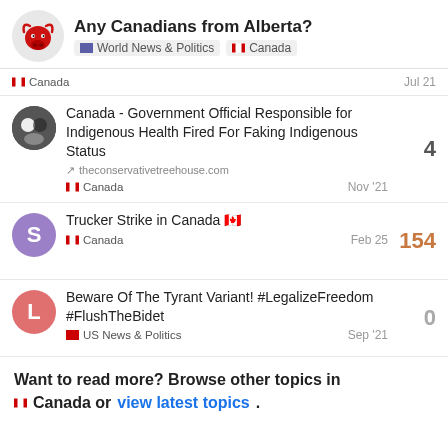Any Canadians from Alberta? — World News & Politics | Canada
Canada — Jul 21
Canada - Government Official Responsible for Indigenous Health Fired For Faking Indigenous Status — theconservativetreehouse.com — Canada — Nov '21 — 4 replies
Trucker Strike in Canada 🇨🇦 — Canada — Feb 25 — 154 replies
Beware Of The Tyrant Variant! #LegalizeFreedom #FlushTheBidet — US News & Politics — Sep '21 — 0 replies
Want to read more? Browse other topics in Canada or view latest topics.